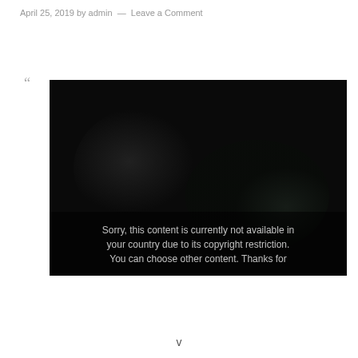April 25, 2019 by admin — Leave a Comment
[Figure (screenshot): Dark video player screenshot with copyright restriction message: 'Sorry, this content is currently not available in your country due to its copyright restriction. You can choose other content. Thanks for']
v